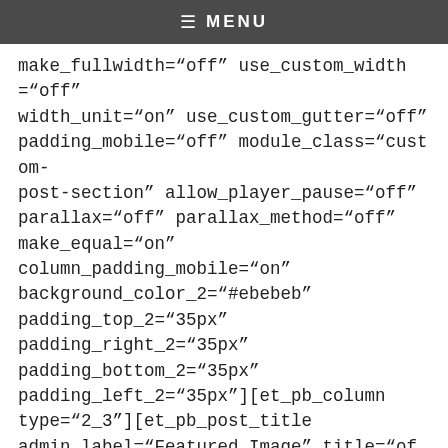≡ MENU
make_fullwidth="off" use_custom_width="off" width_unit="on" use_custom_gutter="off" padding_mobile="off" module_class="custom-post-section" allow_player_pause="off" parallax="off" parallax_method="off" make_equal="on" column_padding_mobile="on" background_color_2="#ebebeb" padding_top_2="35px" padding_right_2="35px" padding_bottom_2="35px" padding_left_2="35px"][et_pb_column type="2_3"][et_pb_post_title admin_label="Featured Image" title="off" meta="off" author="on" date="on" categories="on" comments="on"